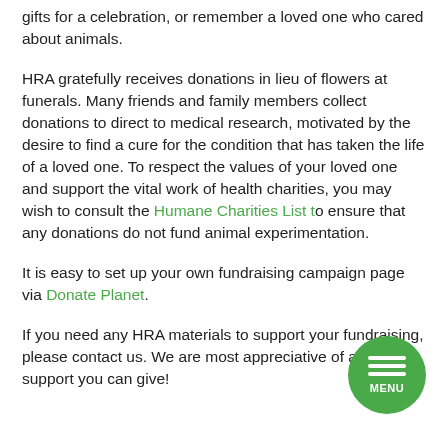gifts for a celebration, or remember a loved one who cared about animals.
HRA gratefully receives donations in lieu of flowers at funerals. Many friends and family members collect donations to direct to medical research, motivated by the desire to find a cure for the condition that has taken the life of a loved one. To respect the values of your loved one and support the vital work of health charities, you may wish to consult the Humane Charities List to ensure that any donations do not fund animal experimentation.
It is easy to set up your own fundraising campaign page via Donate Planet.
If you need any HRA materials to support your fundraising, please contact us. We are most appreciative of any support you can give!